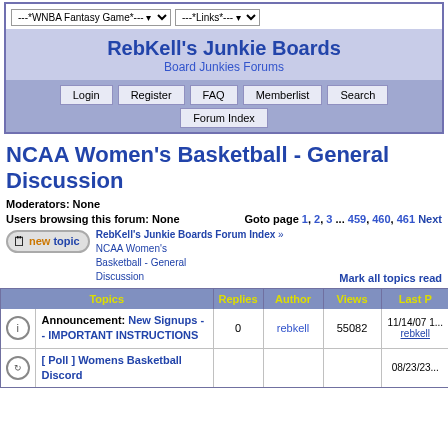RebKell's Junkie Boards - Board Junkies Forums
NCAA Women's Basketball - General Discussion
Moderators: None
Users browsing this forum: None
Goto page 1, 2, 3 ... 459, 460, 461  Next
RebKell's Junkie Boards Forum Index » NCAA Women's Basketball - General Discussion
Mark all topics read
| Topics | Replies | Author | Views | Last P |
| --- | --- | --- | --- | --- |
| Announcement: New Signups -- IMPORTANT INSTRUCTIONS | 0 | rebkell | 55082 | 11/14/07 1... rebkell |
| [ Poll ] Womens Basketball Discord |  |  |  | 08/23/23... |